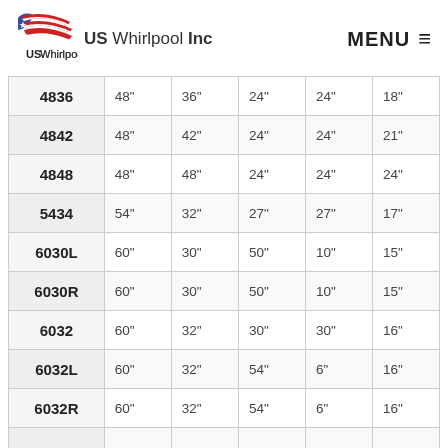[Figure (logo): US Whirlpool Inc logo with American flag design — stars and red/white stripes swoosh]
MENU ≡
| 4836 | 48" | 36" | 24" | 24" | 18" |
| 4842 | 48" | 42" | 24" | 24" | 21" |
| 4848 | 48" | 48" | 24" | 24" | 24" |
| 5434 | 54" | 32" | 27" | 27" | 17" |
| 6030L | 60" | 30" | 50" | 10" | 15" |
| 6030R | 60" | 30" | 50" | 10" | 15" |
| 6032 | 60" | 32" | 30" | 30" | 16" |
| 6032L | 60" | 32" | 54" | 6" | 16" |
| 6032R | 60" | 32" | 54" | 6" | 16" |